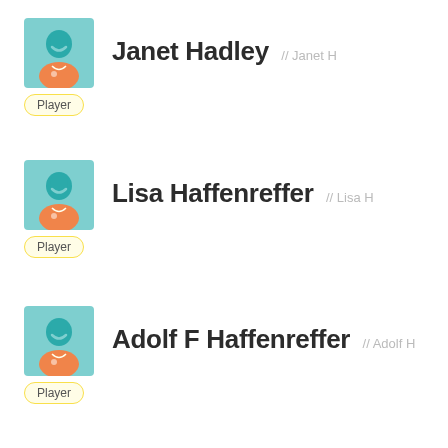[Figure (illustration): Avatar icon of a person with teal head and orange shirt on a light blue background]
Janet Hadley // Janet H
Player
[Figure (illustration): Avatar icon of a person with teal head and orange shirt on a light blue background]
Lisa Haffenreffer // Lisa H
Player
[Figure (illustration): Avatar icon of a person with teal head and orange shirt on a light blue background]
Adolf F Haffenreffer // Adolf H
Player